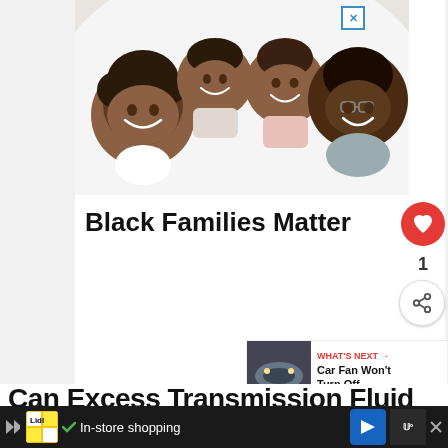[Figure (photo): Advertisement photo showing a happy Black family of four lying on a bed smiling, viewed from above. Two adults and two children.]
Black Families Matter
1
WHAT'S NEXT → Car Fan Won't Turn Off -...
Can Excess Transmission Fluid
In-store shopping